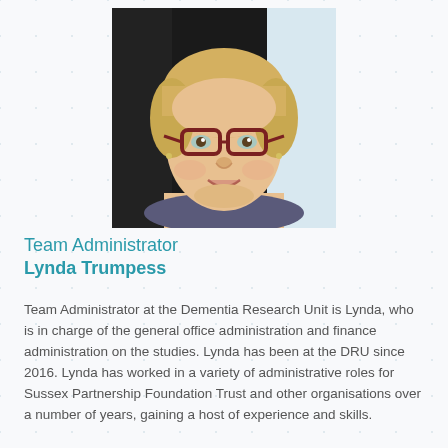[Figure (photo): Portrait photo of Lynda Trumpess, a smiling woman with blonde hair and dark-rimmed glasses.]
Team Administrator
Lynda Trumpess
Team Administrator at the Dementia Research Unit is Lynda, who is in charge of the general office administration and finance administration on the studies. Lynda has been at the DRU since 2016. Lynda has worked in a variety of administrative roles for Sussex Partnership Foundation Trust and other organisations over a number of years, gaining a host of experience and skills.